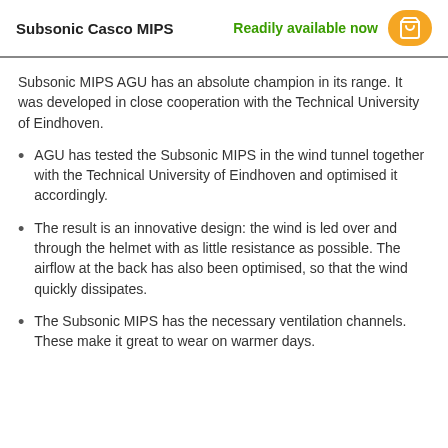Subsonic Casco MIPS   Readily available now
Subsonic MIPS AGU has an absolute champion in its range. It was developed in close cooperation with the Technical University of Eindhoven.
AGU has tested the Subsonic MIPS in the wind tunnel together with the Technical University of Eindhoven and optimised it accordingly.
The result is an innovative design: the wind is led over and through the helmet with as little resistance as possible. The airflow at the back has also been optimised, so that the wind quickly dissipates.
The Subsonic MIPS has the necessary ventilation channels. These make it great to wear on warmer days.